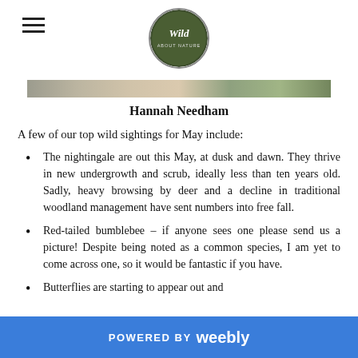Wild [logo] — Hannah Needham blog page header
[Figure (photo): Horizontal banner strip showing a nature/woodland scene, appearing as a narrow colored strip across the page]
Hannah Needham
A few of our top wild sightings for May include:
The nightingale are out this May, at dusk and dawn. They thrive in new undergrowth and scrub, ideally less than ten years old. Sadly, heavy browsing by deer and a decline in traditional woodland management have sent numbers into free fall.
Red-tailed bumblebee – if anyone sees one please send us a picture! Despite being noted as a common species, I am yet to come across one, so it would be fantastic if you have.
Butterflies are starting to appear out and
POWERED BY weebly